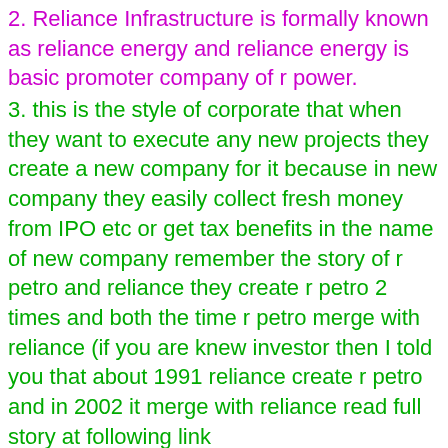2. Reliance Infrastructure is formally known as reliance energy and reliance energy is basic promoter company of r power.
3. this is the style of corporate that when they want to execute any new projects they create a new company for it because in new company they easily collect fresh money from IPO etc or get tax benefits in the name of new company remember the story of r petro and reliance they create r petro 2 times and both the time r petro merge with reliance (if you are knew investor then I told you that about 1991 reliance create r petro and in 2002 it merge with reliance read full story at following link http://www.scribd.com/doc/23835206/Reliance-Petroleum ).
4. so I think when projects of R Power